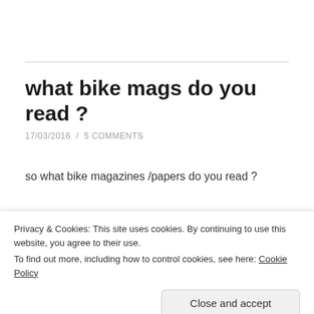what bike mags do you read ?
17/03/2016  /  5 COMMENTS
so what bike magazines /papers do you read ?
Share this:
Privacy & Cookies: This site uses cookies. By continuing to use this website, you agree to their use.
To find out more, including how to control cookies, see here: Cookie Policy
Close and accept